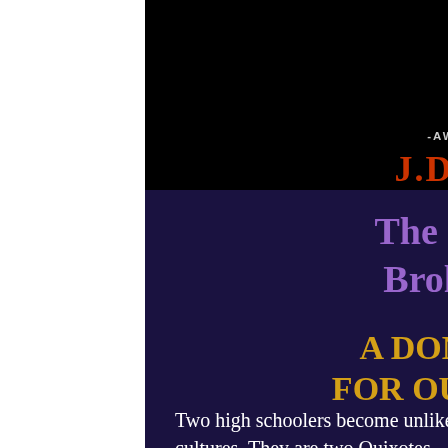-AWARD WINNING AUTHOR- J.D. CORTESE
The Sound of a Broken Chain
A DON QUIXOTE FOR OUR CENTURY
Two high schoolers become unlikely friends across the distance between their cultures. They are two Quixotes